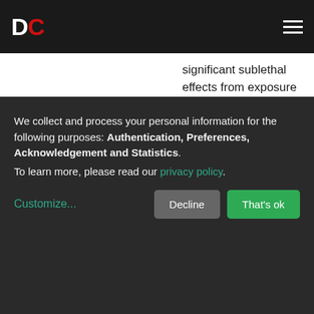DC
significant sublethal effects from exposure to TPT-C1 and Fenarimol and mechanisms of toxicity related to developmental physiology, which are associated with variations in steroid levels in the animal tissues. The results indicate that these two substances (1) affect growth and development by interfering with the same basic cellular mechanisms of regeneration, such as cell proliferation, migration and differentiation/dedifferentiation, which are possibly controlled by steroid hormones; and (2) can induce a number of significant modifications in the timing, modalities and pattern of arm
We collect and process your personal information for the following purposes: Authentication, Preferences, Acknowledgement and Statistics. To learn more, please read our privacy policy.
Customize... Decline That's ok